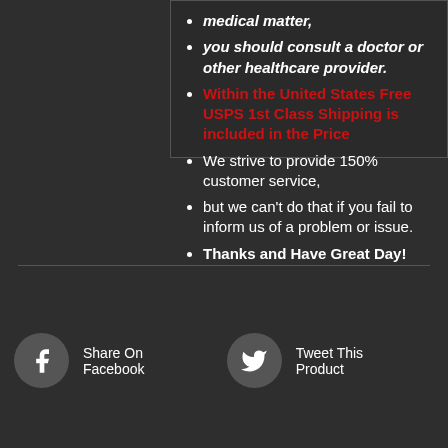medical matter,
you should consult a doctor or other healthcare provider.
Within the United States Free USPS 1st Class Shipping is included in the Price
We strive to provide 150% customer service,
but we can't do that if you fail to inform us of a problem or issue.
Thanks and Have Great Day!
Share On Facebook
Tweet This Product